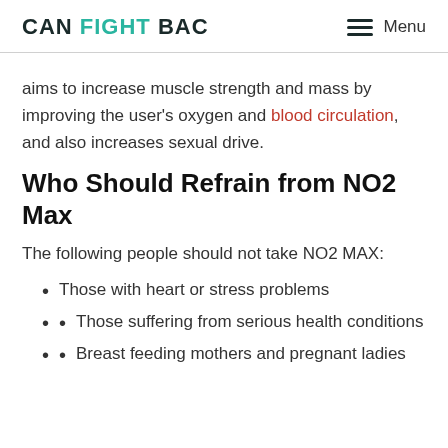CAN FIGHT BAC  Menu
aims to increase muscle strength and mass by improving the user's oxygen and blood circulation, and also increases sexual drive.
Who Should Refrain from NO2 Max
The following people should not take NO2 MAX:
Those with heart or stress problems
Those suffering from serious health conditions
Breast feeding mothers and pregnant ladies